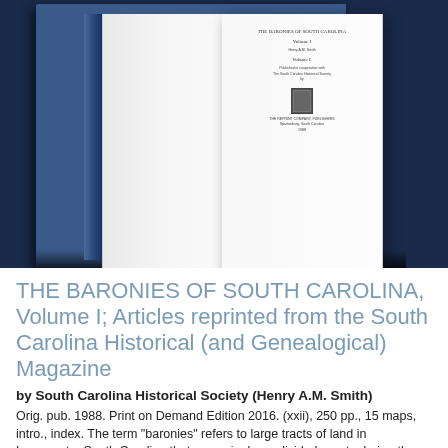[Figure (photo): An open hardcover book with blue cover boards displayed upright, showing the title page text. The book spine is visible. The book is photographed against a dark navy/black background.]
THE BARONIES OF SOUTH CAROLINA, Volume I; Articles reprinted from the South Carolina Historical (and Genealogical) Magazine
by South Carolina Historical Society (Henry A.M. Smith)
Orig. pub. 1988. Print on Demand Edition 2016. (xxii), 250 pp., 15 maps, intro., index. The term "baronies" refers to large tracts of land in Lowcountry South Carolina that were single, undivided grants during the Proprietary era. Smith's articles describe the Lords Proprietors